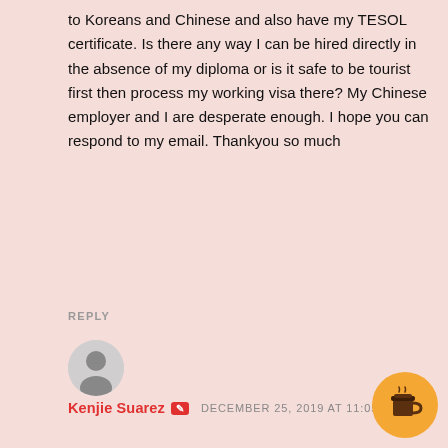to Koreans and Chinese and also have my TESOL certificate. Is there any way I can be hired directly in the absence of my diploma or is it safe to be tourist first then process my working visa there? My Chinese employer and I are desperate enough. I hope you can respond to my email. Thankyou so much
REPLY
[Figure (illustration): User avatar silhouette icon in a grey circle]
Kenjie Suarez   DECEMBER 25, 2019 AT 11:05 PM
Getting a work visa requires you holding a Bachelors degree. It's too risky working in China on a tourist visa. Never ev... it. Add me on WeChat: teachr007
REPLY